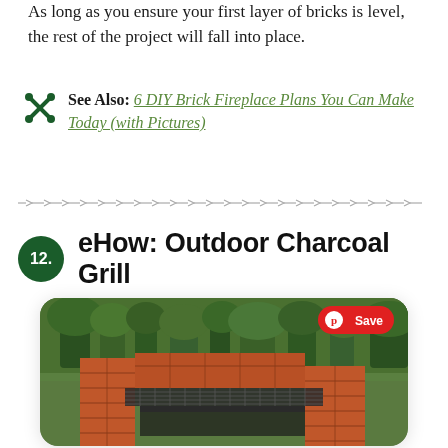As long as you ensure your first layer of bricks is level, the rest of the project will fall into place.
See Also: 6 DIY Brick Fireplace Plans You Can Make Today (with Pictures)
[Figure (other): Decorative arrow divider line]
12. eHow: Outdoor Charcoal Grill
[Figure (photo): Photo of a DIY outdoor brick charcoal grill with metal grates, set against a green wooded background. A red Pinterest Save button is visible in the top-right corner of the image.]